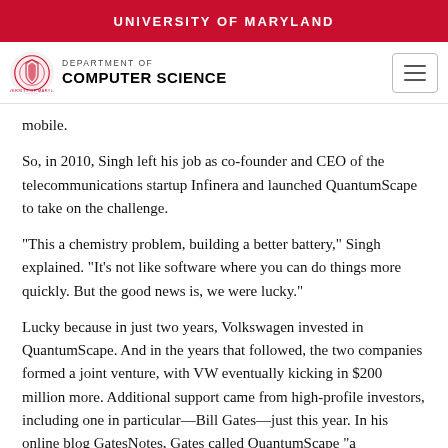UNIVERSITY OF MARYLAND
[Figure (logo): University of Maryland Department of Computer Science navigation bar with UMD seal logo and hamburger menu button]
mobile.
So, in 2010, Singh left his job as co-founder and CEO of the telecommunications startup Infinera and launched QuantumScape to take on the challenge.
“This a chemistry problem, building a better battery,” Singh explained. “It’s not like software where you can do things more quickly. But the good news is, we were lucky.”
Lucky because in just two years, Volkswagen invested in QuantumScape. And in the years that followed, the two companies formed a joint venture, with VW eventually kicking in $200 million more. Additional support came from high-profile investors, including one in particular—Bill Gates—just this year. In his online blog GatesNotes, Gates called QuantumScape “a manufacturer working to commercialize